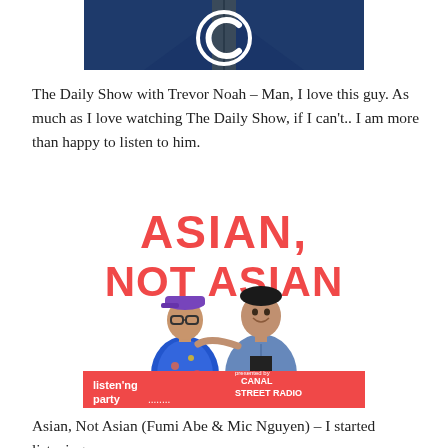[Figure (photo): Top portion of a man in a blue suit with Comedy Central logo, cropped image from The Daily Show with Trevor Noah]
The Daily Show with Trevor Noah – Man, I love this guy. As much as I love watching The Daily Show, if I can't.. I am more than happy to listen to him.
[Figure (photo): Asian, Not Asian podcast cover art showing two men – one in a floral shirt with glasses and a purple cap, another in a denim jacket, with bold red text 'ASIAN, NOT ASIAN' at top and 'listening party' and 'CANAL STREET RADIO' text at the bottom on a red banner.]
Asian, Not Asian (Fumi Abe & Mic Nguyen) – I started listening